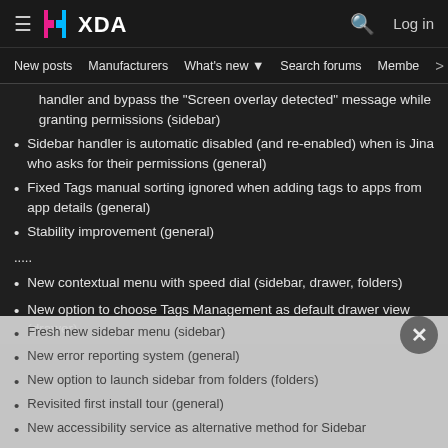[Figure (logo): XDA Developers logo with pink and blue bracket icon and white XDA text]
New posts  Manufacturers  What's new  Search forums  Membe  >
handler and bypass the "Screen overlay detected" message while granting permissions (sidebar)
Sidebar handler is automatic disabled (and re-enabled) when is Jina who asks for their permissions (general)
Fixed Tags manual sorting ignored when adding tags to apps from app details (general)
Stability improvement (general)
.....
New contextual menu with speed dial (sidebar, drawer, folders)
New option to choose Tags Management as default drawer view (drawer)
New option to clear previous search on each start (sidebar/drawer)
Fresh new sidebar menu (sidebar)
New error reporting system (general)
New option to launch sidebar from folders (folders)
Revisited first install tour (general)
New accessibility service as alternative method for Sidebar